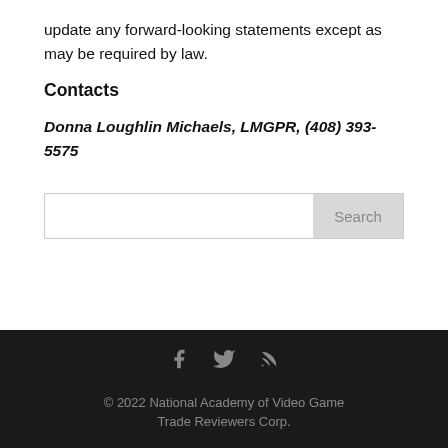update any forward-looking statements except as may be required by law.
Contacts
Donna Loughlin Michaels, LMGPR, (408) 393-5575
[Figure (other): Search bar with text input and Search button]
© 2022 National Academy of Video Game Trade Reviewers Corp.